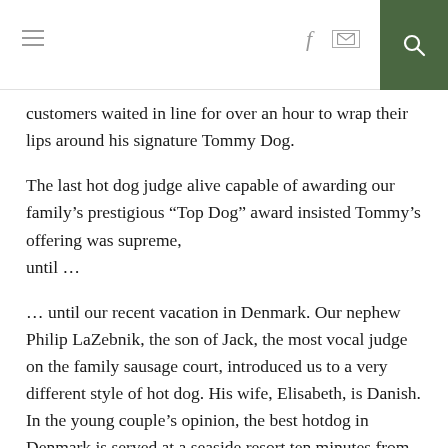[navigation header with menu, facebook, mail, and search icons]
customers waited in line for over an hour to wrap their lips around his signature Tommy Dog.
The last hot dog judge alive capable of awarding our family's prestigious “Top Dog” award insisted Tommy’s offering was supreme,
until …
… until our recent vacation in Denmark. Our nephew Philip LaZebnik, the son of Jack, the most vocal judge on the family sausage court, introduced us to a very different style of hot dog. His wife, Elisabeth, is Danish. In the young couple’s opinion, the best hotdog in Denmark is served at a seaside resort ten minutes from their home in Naestved.
The tasty bright red dog comes encircled in bread in what